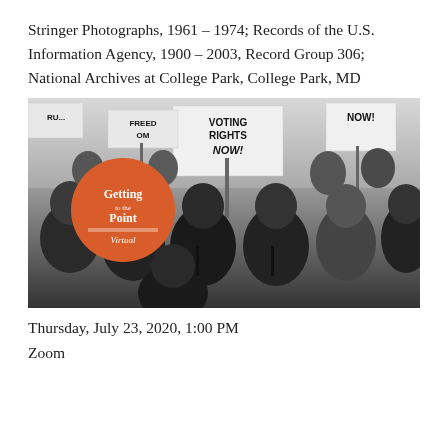Stringer Photographs, 1961 – 1974; Records of the U.S. Information Agency, 1900 – 2003, Record Group 306; National Archives at College Park, College Park, MD
[Figure (photo): Black and white photograph of civil rights marchers holding signs reading 'VOTING RIGHTS NOW!', 'FREEDOM', 'NOW!' at what appears to be the 1963 March on Washington. An orange circular logo reading 'Getting to the Point Virtual' is overlaid on the upper left of the image.]
Thursday, July 23, 2020, 1:00 PM
Zoom